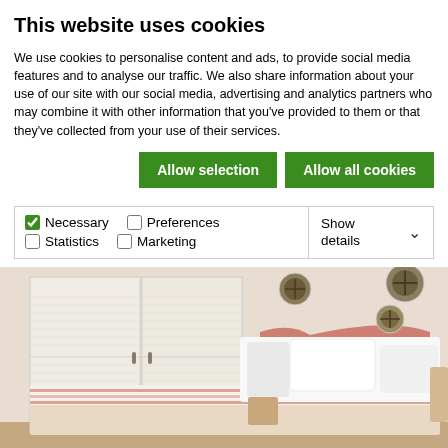This website uses cookies
We use cookies to personalise content and ads, to provide social media features and to analyse our traffic. We also share information about your use of our site with our social media, advertising and analytics partners who may combine it with other information that you've provided to them or that they've collected from your use of their services.
Allow selection | Allow all cookies
Necessary | Preferences | Statistics | Marketing | Show details
[Figure (photo): Hotel bedroom with white bed linens, a coral/orange headboard, white wardrobe with louvred doors, and decorative circular wall hangings on a beige wall.]